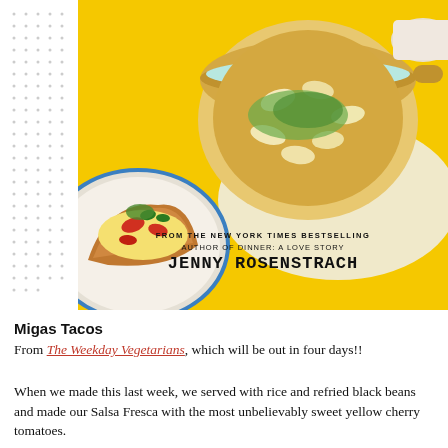[Figure (photo): Cookbook cover photo showing overhead view of a pot of bean soup with herbs on a yellow background, a taco plate with eggs, red peppers, and jalapeños on a blue patterned plate, and text reading 'FROM THE NEW YORK TIMES BESTSELLING AUTHOR OF DINNER: A LOVE STORY JENNY ROSENSTRACH']
Migas Tacos
From The Weekday Vegetarians, which will be out in four days!!
When we made this last week, we served with rice and refried black beans and made our Salsa Fresca with the most unbelievably sweet yellow cherry tomatoes.
Definitely try to find some peak-season heirloom-y type tomatoes — it will take the tacos from good to great.